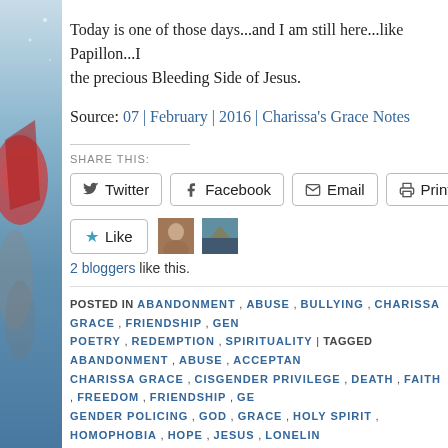Today is one of those days...and I am still here...like Papillon...the precious Bleeding Side of Jesus.
Source: 07 | February | 2016 | Charissa's Grace Notes
SHARE THIS:
Twitter  Facebook  Email  Print
Like  2 bloggers like this.
POSTED IN ABANDONMENT , ABUSE , BULLYING , CHARISSA GRACE , FRIENDSHIP , GEN... POETRY , REDEMPTION , SPIRITUALITY | TAGGED ABANDONMENT , ABUSE , ACCEPTAN... CHARISSA GRACE , CISGENDER PRIVILEGE , DEATH , FAITH , FREEDOM , FRIENDSHIP , GE... GENDER POLICING , GOD , GRACE , HOLY SPIRIT , HOMOPHOBIA , HOPE , JESUS , LONELIN... MISOGYNY , MURDER , OTHERING , POEM , POETRY , REDEMPTION , RELIGION AND SPIR... SANCTIFICATION , SORROW , TRANSFORMATION , TRANSGENDER AWARENESS , TRAN...